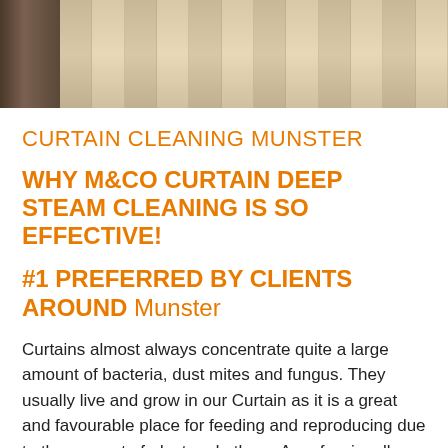[Figure (photo): Photo of hanging curtains with light filtering through vertical fabric panels, with a dark chair visible on the left side.]
CURTAIN CLEANING MUNSTER
WHY M&CO CURTAIN DEEP STEAM CLEANING IS SO EFFECTIVE!
#1 PREFERRED BY CLIENTS AROUND Munster
Curtains almost always concentrate quite a large amount of bacteria, dust mites and fungus. They usually live and grow in our Curtain as it is a great and favourable place for feeding and reproducing due to the amount of, dust and others. A professionally cleaned curtain can not only improve the look of your house, but also your health and the curtain's life expectancy. Some Benefits of curtain